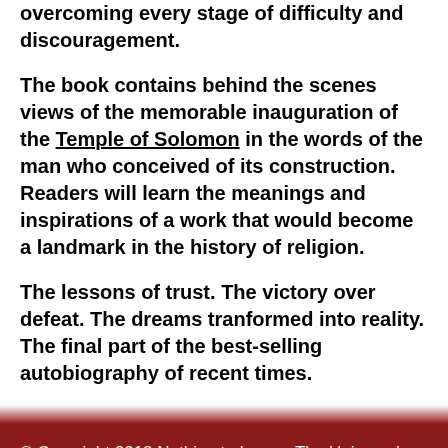overcoming every stage of difficulty and discouragement.
The book contains behind the scenes views of the memorable inauguration of the Temple of Solomon in the words of the man who conceived of its construction. Readers will learn the meanings and inspirations of a work that would become a landmark in the history of religion.
The lessons of trust. The victory over defeat. The dreams tranformed into reality. The final part of the best-selling autobiography of recent times.
© Copyright 2018 Nothing to Lose - The Universal Church